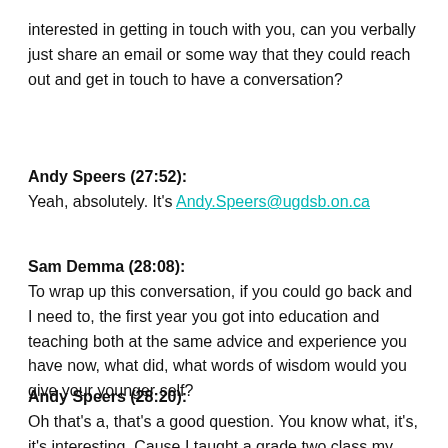interested in getting in touch with you, can you verbally just share an email or some way that they could reach out and get in touch to have a conversation?
Andy Speers (27:52): Yeah, absolutely. It's Andy.Speers@ugdsb.on.ca
Sam Demma (28:08): To wrap up this conversation, if you could go back and I need to, the first year you got into education and teaching both at the same advice and experience you have now, what did, what words of wisdom would you give your younger self?
Andy Speers (28:20): Oh that's a, that's a good question. You know what, it's, it's interesting. Cause I taught a grade two class my